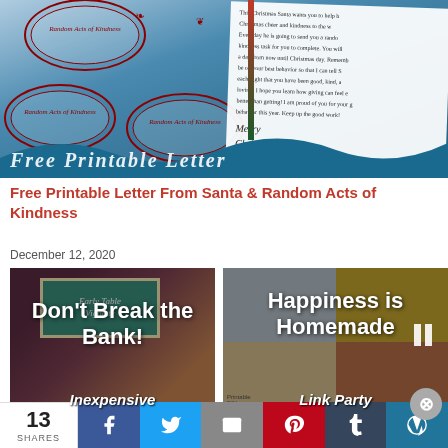[Figure (photo): Hero image showing a Free Printable Letter From Santa with Random Acts of Kindness cards/ornamental labels on a teal/blue background with decorative red oval frames. Bottom shows script text overlay.]
Free Printable Letter From Santa & Random Acts of Kindness
December 12, 2020
[Figure (photo): Related post thumbnail: Don't Break the Bank! Inexpensive... — shows a craft/party supply table with teal and white decorations]
[Figure (photo): Related post thumbnail: Happiness is Homemade Link Party — shows food and craft collage with yellow and neutral tones; has pause icon overlay]
Advertisements
13 SHARES
Facebook share button
Twitter share button
Email share button
Pinterest share button
Tumblr share button
WordPress share button